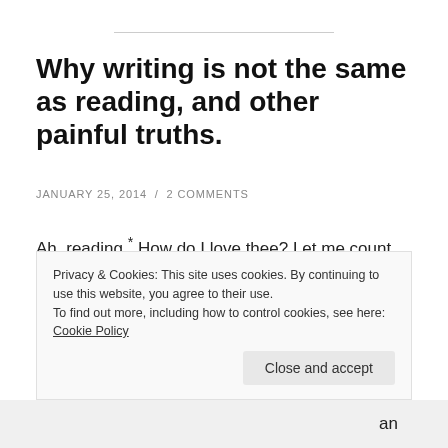Why writing is not the same as reading, and other painful truths.
JANUARY 25, 2014  /  2 COMMENTS
Ah, reading.* How do I love thee? Let me count the ways...
1) A nice chunky novel = soaking your brain in a long, hot bath. (Although anything by David Peace = an episode
Privacy & Cookies: This site uses cookies. By continuing to use this website, you agree to their use.
To find out more, including how to control cookies, see here: Cookie Policy
Close and accept
an